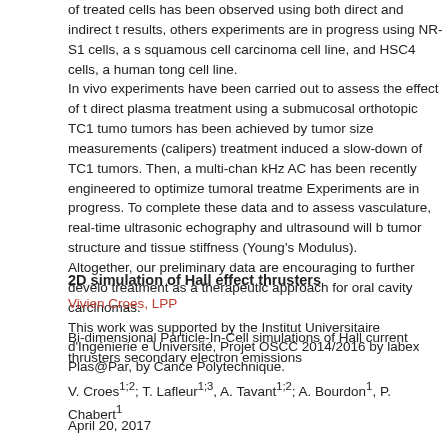of treated cells has been observed using both direct and indirect t results, others experiments are in progress using NR-S1 cells, a s squamous cell carcinoma cell line, and HSC4 cells, a human tong cell line. In vivo experiments have been carried out to assess the effect of t direct plasma treatment using a submucosal orthotopic TC1 tumo tumors has been achieved by tumor size measurements (calipers) treatment induced a slow-down of TC1 tumors. Then, a multi-char kHz AC has been recently engineered to optimize tumoral treatme Experiments are in progress. To complete these data and to asses vasculature, real-time ultrasonic echography and ultrasound will b tumor structure and tissue stiffness (Young's Modulus). Altogether, our preliminary data are encouraging to further develo treatment as a therapeutic approach for oral cavity carcinomas. This work was supported by the Institut Universitaire d'Ingénierie e Université, Projet OSCC 2014/2016 by labex Plas@Par, by Cance Polytechnique.
2D simulation of Hall effect thrusters
Vivien Croes, LPP
Bi-dimensional Particle-In-Cell simulations of Hall current thrusters secondary electron emissions
V. Croes1;2; T. Lafleur1;3, A. Tavant1;2; A. Bourdon1, P. Chabert1
April 20, 2017